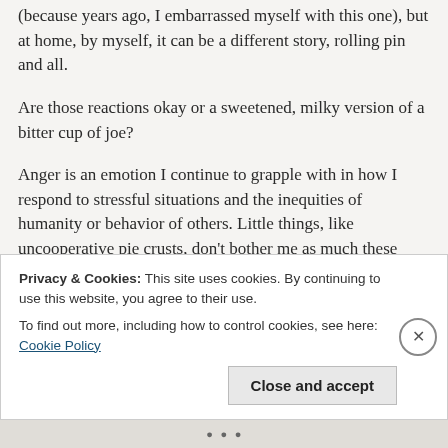(because years ago, I embarrassed myself with this one), but at home, by myself, it can be a different story, rolling pin and all.
Are those reactions okay or a sweetened, milky version of a bitter cup of joe?
Anger is an emotion I continue to grapple with in how I respond to stressful situations and the inequities of humanity or behavior of others. Little things, like uncooperative pie crusts, don't bother me as much these days, perhaps due to retirement and a pandemic that keeps me at home, or because I haven't made a
Privacy & Cookies: This site uses cookies. By continuing to use this website, you agree to their use.
To find out more, including how to control cookies, see here: Cookie Policy
Close and accept